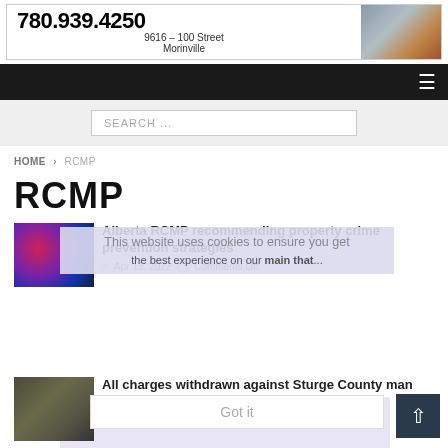[Figure (photo): Advertisement banner with phone number 780.939.4250, address 9616 - 100 Street Morinville, and photo of a street scene with an orange truck]
[Figure (screenshot): Dark navigation bar with hamburger menu icon on the right]
[Figure (screenshot): Search bar with placeholder text SEARCH ...]
HOME > RCMP
RCMP
This website uses cookies to ensure you get the best experience on our main that...
[Figure (photo): Police car with blue and red flashing lights at night]
Alberta RCMP recommending property crime prevention strategies
Apr 13, 2022   Comments Off
Got it
[Figure (photo): Military or police personnel group photo]
All charges withdrawn against Sturg County man in 2021 investigation